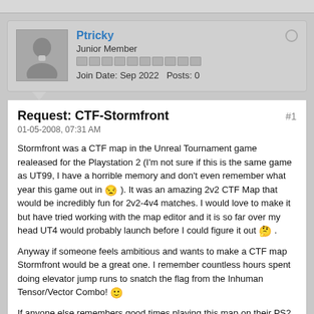[Figure (other): User avatar silhouette (generic grey person icon) with username Ptricky, rank Junior Member, reputation pips, join date Sep 2022, posts 0, and offline status indicator]
Request: CTF-Stormfront
01-05-2008, 07:31 AM
Stormfront was a CTF map in the Unreal Tournament game realeased for the Playstation 2 (I'm not sure if this is the same game as UT99, I have a horrible memory and don't even remember what year this game out in 😒 ). It was an amazing 2v2 CTF Map that would be incredibly fun for 2v2-4v4 matches. I would love to make it but have tried working with the map editor and it is so far over my head UT4 would probably launch before I could figure it out 🤔 .
Anyway if someone feels ambitious and wants to make a CTF map Stormfront would be a great one. I remember countless hours spent doing elevator jump runs to snatch the flag from the Inhuman Tensor/Vector Combo! 🙂
If anyone else remembers good times playing this map on their PS2 back in the day feel free to bump this post!